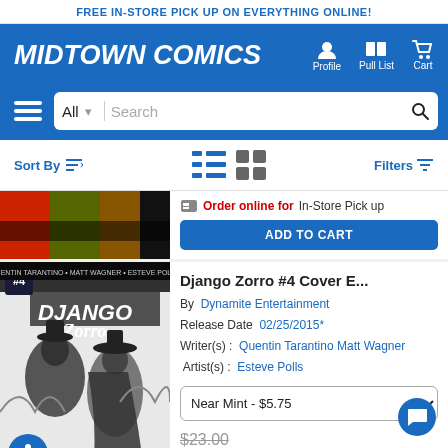FREE IN-STORE PICK UP ON EVERYTHING ONLINE!
[Figure (logo): Midtown Comics logo in white italic bold text on blue background with Profile, Pull List, Cart navigation icons]
[Figure (screenshot): Search bar with hamburger menu, All category dropdown, Search input field and search icon on blue background]
Sort By  Filters
[Figure (screenshot): View toggle icons: list view (blue) and grid view (gray)]
[Figure (photo): Partial comic book cover image at top of first product listing]
Order online for In-Store Pick up
ADD TO CART
Django Zorro #4 Cover E...
By  Dynamite Entertainment
Release Date  02/25/2015*
Writer(s) :  Quentin Tarantino Matt Wagner  Artist(s) :  Esteve Polls
[Figure (photo): Django Zorro #4 black and white comic book cover showing two figures in cowboy/Zorro attire]
Near Mint - $5.75
$23.00
$5.75